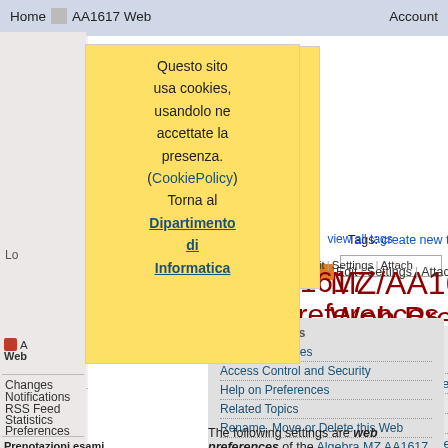Home   AA1617 Web   Account
Questo sito usa cookies, usandolo ne accettate la presenza. (CookiePolicy) Torna al Dipartimento di Informatica
Tags: create new tag   view all tags
MZ/AA1617 Web Preferences
Page contents
Web Preferences
Access Control and Security
Help on Preferences
Related Topics
Rename, Move or Delete this Web
Changes
Notifications
RSS Feed
Statistics
Preferences
Prenotazioni esami
The following settings are web preferences of the Algebra MZ AA1617